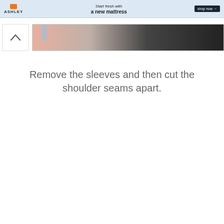[Figure (screenshot): Ashley Furniture advertisement banner with logo, text 'Start fresh with a new mattress', and a 'shop now' button]
[Figure (photo): Partial view of a clothing/fabric image strip with an up-arrow navigation button and a thumbnail photo showing pink fabric and dark background]
Remove the sleeves and then cut the shoulder seams apart.